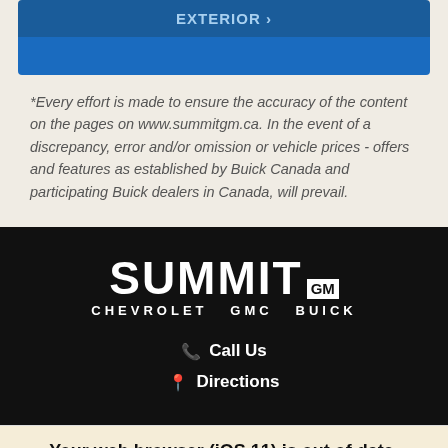[Figure (other): Blue navigation buttons: EXTERIOR > and a blank blue button below]
*Every effort is made to ensure the accuracy of the content on the pages on www.summitgm.ca. In the event of a discrepancy, error and/or omission or vehicle prices - offers and features as established by Buick Canada and participating Buick dealers in Canada, will prevail.
[Figure (logo): Summit GM Chevrolet GMC Buick logo in white on black background]
Call Us
Directions
Your web browser (iOS 11) is out of date. Update your browser for more security, speed and the best experience on this site.
Update browser
Ignore